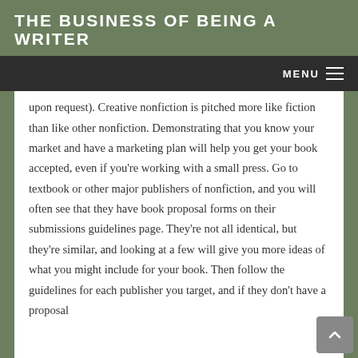THE BUSINESS OF BEING A WRITER
MENU
upon request). Creative nonfiction is pitched more like fiction than like other nonfiction. Demonstrating that you know your market and have a marketing plan will help you get your book accepted, even if you're working with a small press. Go to textbook or other major publishers of nonfiction, and you will often see that they have book proposal forms on their submissions guidelines page. They're not all identical, but they're similar, and looking at a few will give you more ideas of what you might include for your book. Then follow the guidelines for each publisher you target, and if they don't have a proposal